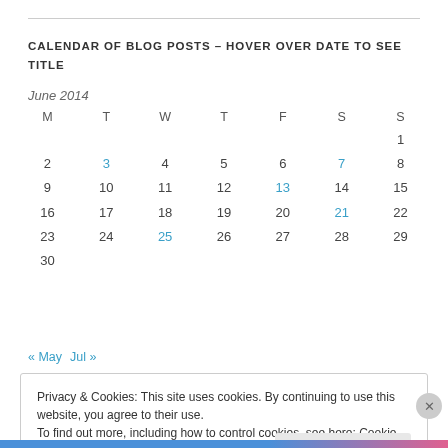CALENDAR OF BLOG POSTS – HOVER OVER DATE TO SEE TITLE
June 2014
| M | T | W | T | F | S | S |
| --- | --- | --- | --- | --- | --- | --- |
|  |  |  |  |  |  | 1 |
| 2 | 3 | 4 | 5 | 6 | 7 | 8 |
| 9 | 10 | 11 | 12 | 13 | 14 | 15 |
| 16 | 17 | 18 | 19 | 20 | 21 | 22 |
| 23 | 24 | 25 | 26 | 27 | 28 | 29 |
| 30 |  |  |  |  |  |  |
« May  Jul »
Privacy & Cookies: This site uses cookies. By continuing to use this website, you agree to their use.
To find out more, including how to control cookies, see here: Cookie Policy